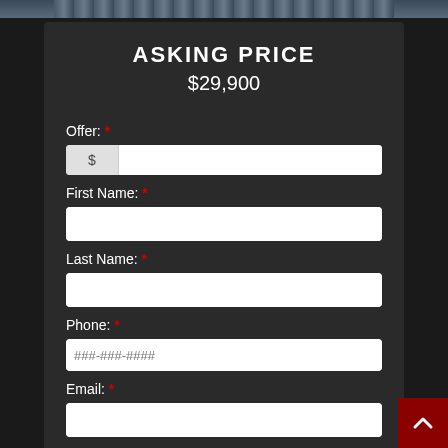[Figure (photo): Dark banner image strip at top of page]
ASKING PRICE
$29,900
Offer: *
First Name: *
Last Name: *
Phone: *
Email: *